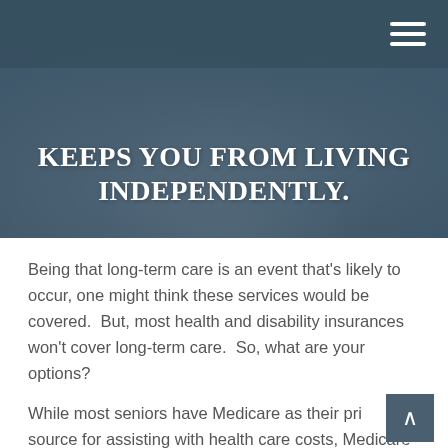[Figure (photo): Hero image with blurred pillow/bedding background overlaid with a dark teal/slate color. Navigation bar at top with hamburger menu icon on the right.]
KEEPS YOU FROM LIVING INDEPENDENTLY.
Being that long-term care is an event that's likely to occur, one might think these services would be covered.  But, most health and disability insurances won't cover long-term care.  So, what are your options?
While most seniors have Medicare as their primary source for assisting with health care costs, Medicare